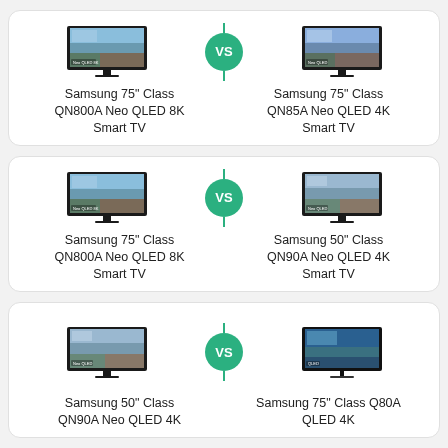[Figure (infographic): Comparison card 1: Samsung 75" Class QN800A Neo QLED 8K Smart TV vs Samsung 75" Class QN85A Neo QLED 4K Smart TV]
Samsung 75" Class QN800A Neo QLED 8K Smart TV
Samsung 75" Class QN85A Neo QLED 4K Smart TV
[Figure (infographic): Comparison card 2: Samsung 75" Class QN800A Neo QLED 8K Smart TV vs Samsung 50" Class QN90A Neo QLED 4K Smart TV]
Samsung 75" Class QN800A Neo QLED 8K Smart TV
Samsung 50" Class QN90A Neo QLED 4K Smart TV
[Figure (infographic): Comparison card 3: Samsung 50" Class QN90A Neo QLED 4K vs Samsung 75" Class Q80A QLED 4K]
Samsung 50" Class QN90A Neo QLED 4K
Samsung 75" Class Q80A QLED 4K